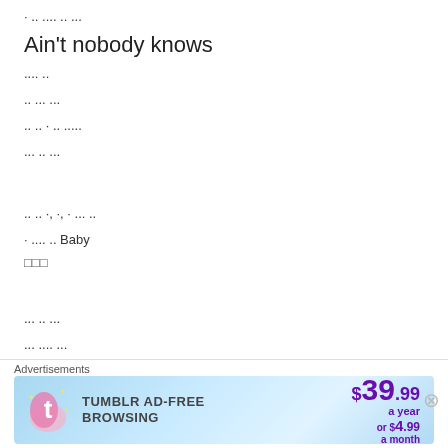· .. .... .. ...
Ain't nobody knows
.... ..
.. ... ...
.. .. · .. .....
... .. ...
.. .. ·, ·, · ... ..
· .... .. Baby
□□□
... .. ...
... .... ...
... .. ..
I can't stop it
[Figure (other): Tumblr Ad-Free Browsing advertisement banner: $39.99 a year or $4.99 a month, with Tumblr logo]
Advertisements